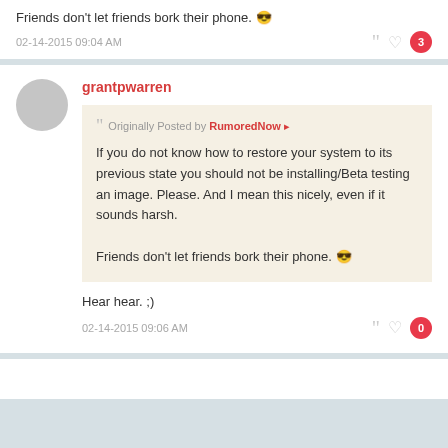Friends don't let friends bork their phone. 😎
02-14-2015 09:04 AM
grantpwarren
Originally Posted by RumoredNow
If you do not know how to restore your system to its previous state you should not be installing/Beta testing an image. Please. And I mean this nicely, even if it sounds harsh.

Friends don't let friends bork their phone. 😎
Hear hear. ;)
02-14-2015 09:06 AM